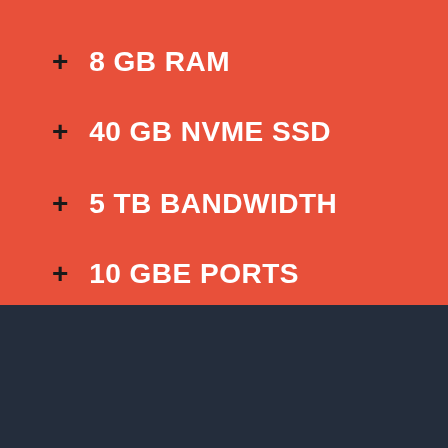+ 8 GB RAM
+ 40 GB NVME SSD
+ 5 TB BANDWIDTH
+ 10 GBE PORTS
[Figure (logo): Drupar logo with circular orange droplet icon and text 'drupar.' in white with red period, on dark navy background]